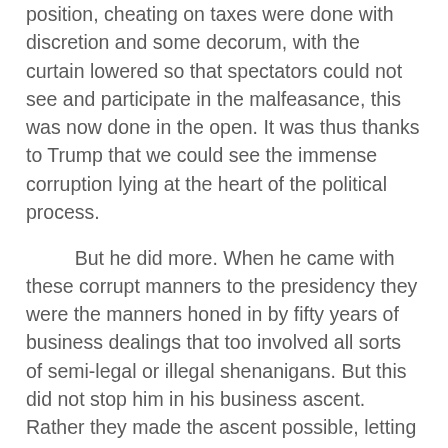position, cheating on taxes were done with discretion and some decorum, with the curtain lowered so that spectators could not see and participate in the malfeasance, this was now done in the open. It was thus thanks to Trump that we could see the immense corruption lying at the heart of the political process.

But he did more. When he came with these corrupt manners to the presidency they were the manners honed in by fifty years of business dealings that too involved all sorts of semi-legal or illegal shenanigans. But this did not stop him in his business ascent. Rather they made the ascent possible, letting him enjoy a brilliant career in New York business world, become rich, and be a valued guest at many parties, including being an esteemed